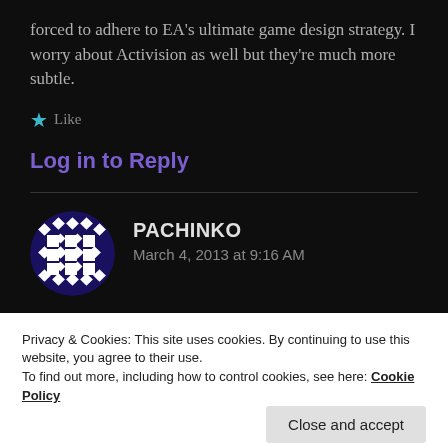forced to adhere to EA's ultimate game design strategy. I worry about Activision as well but they're much more subtle.
★ Like
Log in to Reply
PACHINKO
March 4, 2013 at 9:16 AM
[Figure (illustration): Circular avatar icon with dark blue/purple background and white geometric diamond and square pattern]
Privacy & Cookies: This site uses cookies. By continuing to use this website, you agree to their use.
To find out more, including how to control cookies, see here: Cookie Policy
Close and accept
I think you've missed the point. By buying the game